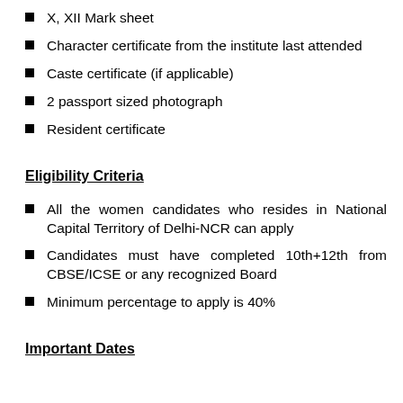X, XII Mark sheet
Character certificate from the institute last attended
Caste certificate (if applicable)
2 passport sized photograph
Resident certificate
Eligibility Criteria
All the women candidates who resides in National Capital Territory of Delhi-NCR can apply
Candidates must have completed 10th+12th from CBSE/ICSE or any recognized Board
Minimum percentage to apply is 40%
Important Dates